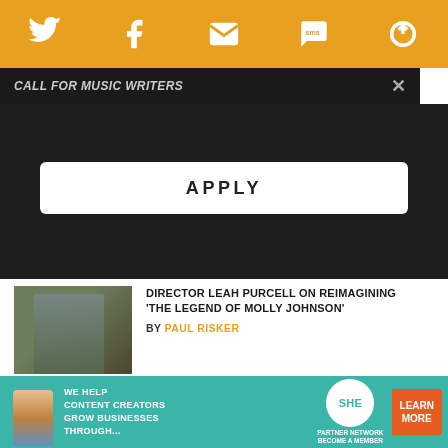[Figure (screenshot): Orange top navigation bar with social media icons: Twitter, Facebook, Email, SMS, and another icon on white background]
Call for Music Writers
APPLY
DIRECTOR LEAH PURCELL ON REIMAGINING 'THE LEGEND OF MOLLY JOHNSON' BY PAUL RISKER
JAZZMATTERS: THE BEST NEW JAZZ OF SUMMER 2022 BY WILL...
[Figure (screenshot): Video ad overlay showing 'Loading ad' text with spinning loader and video controls (pause, fullscreen, mute)]
[Figure (infographic): SHE Media Partner Network advertisement banner with teal background: 'We help content creators grow businesses through...' with LEARN MORE button]